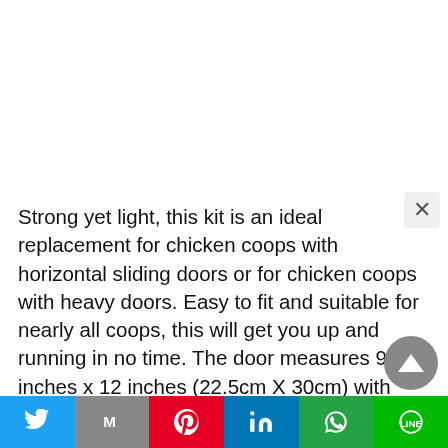Strong yet light, this kit is an ideal replacement for chicken coops with horizontal sliding doors or for chicken coops with heavy doors. Easy to fit and suitable for nearly all coops, this will get you up and running in no time. The door measures 9 inches x 12 inches (22.5cm X 30cm) with two runners, fully exterior grade weatherproof aluminum, measuring 24 inches (60cm) in height. each Coop construction is different.